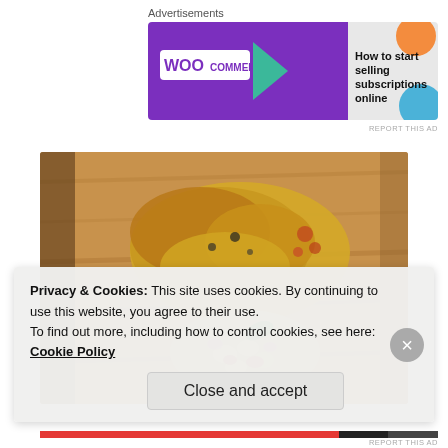Advertisements
[Figure (screenshot): WooCommerce advertisement banner with purple background, teal arrow, and text 'How to start selling subscriptions online']
[Figure (photo): Food photo showing cooked fish or chicken pieces on a wooden cutting board with a bean and tomato salsa garnish]
Privacy & Cookies: This site uses cookies. By continuing to use this website, you agree to their use.
To find out more, including how to control cookies, see here: Cookie Policy
Close and accept